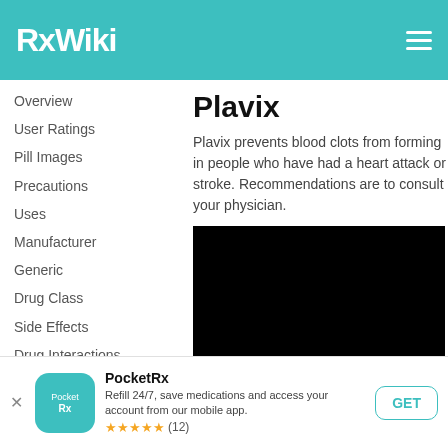RxWiki
Overview
User Ratings
Pill Images
Precautions
Uses
Manufacturer
Generic
Drug Class
Side Effects
Drug Interactions
Drug Precautions
Food Interactions
Plavix
Plavix prevents blood clots from forming in people who have had a heart attack or stroke. Recommendations are to consult your physician.
[Figure (photo): Black rectangular image area for Plavix drug photo]
PocketRx
Refill 24/7, save medications and access your account from our mobile app.
★★★★★ (12)